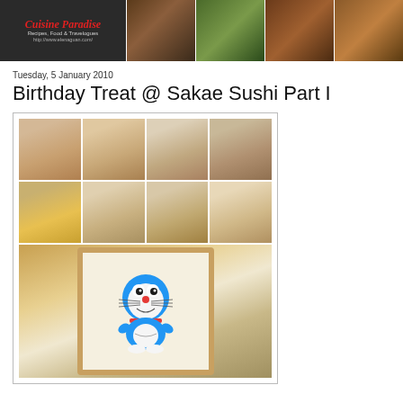Cuisine Paradise - Recipes, Food & Travelogues - http://www.elenaguan.com/
Tuesday, 5 January 2010
Birthday Treat @ Sakae Sushi Part I
[Figure (photo): A photo collage showing a young boy opening a birthday present box in 8 sequential photos (2 rows of 4), and below a birthday cake decorated with a Doraemon character image surrounded by chocolate frosting piping.]